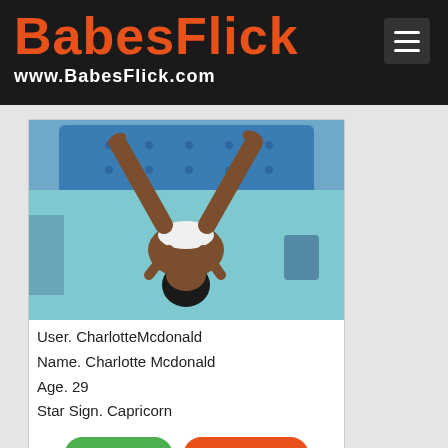BABESFLICK www.BabesFlick.com
[Figure (photo): Photo of a woman lying on a blue bed with legs raised in the air]
User. CharlotteMcdonald
Name. Charlotte Mcdonald
Age. 29
Star Sign. Capricorn
CHAT »   PROFILE »